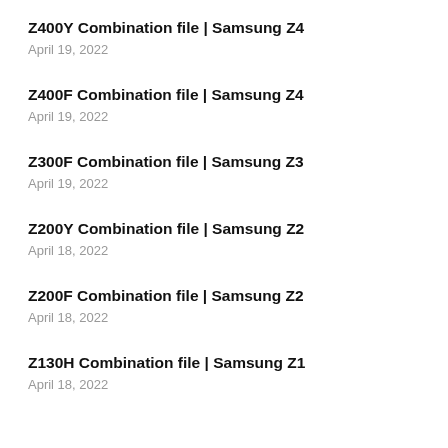Z400Y Combination file | Samsung Z4
April 19, 2022
Z400F Combination file | Samsung Z4
April 19, 2022
Z300F Combination file | Samsung Z3
April 19, 2022
Z200Y Combination file | Samsung Z2
April 18, 2022
Z200F Combination file | Samsung Z2
April 18, 2022
Z130H Combination file | Samsung Z1
April 18, 2022